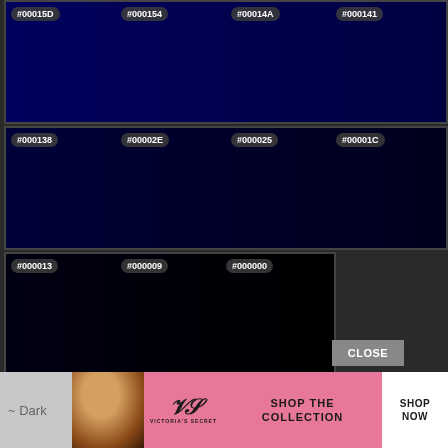[Figure (other): Color swatch grid showing dark blue color shades. Row 1: #00015D, #000154, #00014A, #000141. Row 2: #000138, #00002E, #000025, #00001C. Row 3 (partial): #000013, #000009, #000000. Close button visible. Bottom ad banner for Victoria's Secret.]
~ Dark
[Figure (infographic): Victoria's Secret advertisement banner with model photo, VS logo, SHOP THE COLLECTION text, and SHOP NOW button]